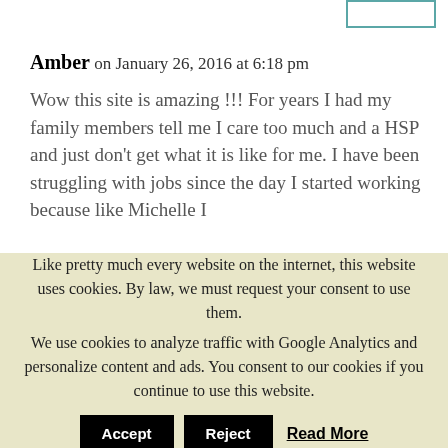Amber on January 26, 2016 at 6:18 pm
Wow this site is amazing !!! For years I had my family members tell me I care too much and a HSP and just don't get what it is like for me. I have been struggling with jobs since the day I started working because like Michelle I
Like pretty much every website on the internet, this website uses cookies. By law, we must request your consent to use them.
We use cookies to analyze traffic with Google Analytics and personalize content and ads. You consent to our cookies if you continue to use this website.